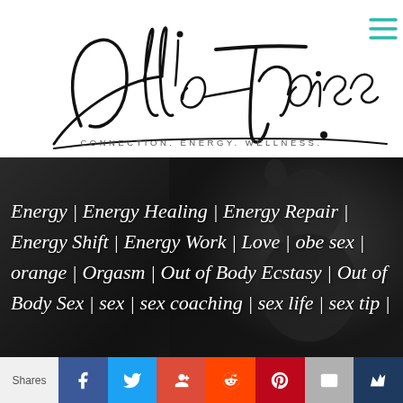[Figure (logo): Allie Theiss signature logo with cursive script text reading 'Allie Theiss' and tagline 'CONNECTION. ENERGY. WELLNESS.' with teal hamburger menu icon top right]
[Figure (photo): Dark moody background photo of a woman with head tilted back, overlaid with italic white cursive tag/keyword text: Energy | Energy Healing | Energy Repair | Energy Shift | Energy Work | Love | obe sex | orange | Orgasm | Out of Body Ecstasy | Out of Body Sex | sex | sex coaching | sex life | sex tip]
Shares | Facebook | Twitter | Google+ | Reddit | Pinterest | Email | Other